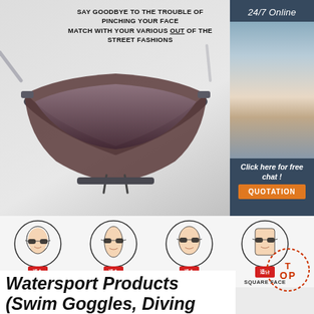[Figure (photo): Close-up product photo of the nose bridge of a pair of rimless sunglasses with gray metallic frame, shown from below with arms extended, on light gray background. Bold text overlay reads: SAY GOODBYE TO THE TROUBLE OF PINCHING YOUR FACE MATCH WITH YOUR VARIOUS OUT OF THE STREET FASHIONS]
[Figure (photo): Sidebar with dark teal background: '24/7 Online' title, photo of smiling female customer service representative with headset, 'Click here for free chat!' text, and orange QUOTATION button]
[Figure (infographic): Four face-shape icons showing illustrated heads wearing sunglasses with red '适合' badges, labeled ROUND FACE, LONG FACE, OVAL FACE, SQUARE FACE]
Watersport Products (Swim Goggles, Diving Mask -